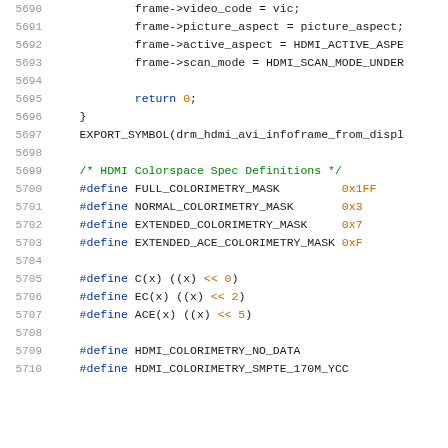Source code listing lines 5690-5710, C language code for HDMI colorspace definitions
5690    frame->video_code = vic;
5691    frame->picture_aspect = picture_aspect;
5692    frame->active_aspect = HDMI_ACTIVE_ASPE
5693    frame->scan_mode = HDMI_SCAN_MODE_UNDER
5694
5695    return 0;
5696  }
5697  EXPORT_SYMBOL(drm_hdmi_avi_infoframe_from_displ
5698
5699  /* HDMI Colorspace Spec Definitions */
5700  #define FULL_COLORIMETRY_MASK        0x1FF
5701  #define NORMAL_COLORIMETRY_MASK      0x3
5702  #define EXTENDED_COLORIMETRY_MASK    0x7
5703  #define EXTENDED_ACE_COLORIMETRY_MASK 0xF
5704
5705  #define C(x) ((x) << 0)
5706  #define EC(x) ((x) << 2)
5707  #define ACE(x) ((x) << 5)
5708
5709  #define HDMI_COLORIMETRY_NO_DATA
5710  #define HDMI_COLORIMETRY_SMPTE_170M_YCC